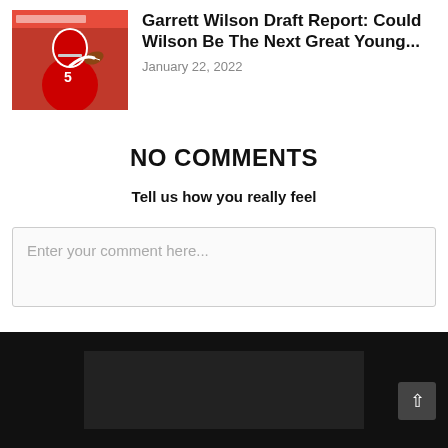[Figure (photo): Football player in red Ohio State uniform throwing a football, with red banner in background]
Garrett Wilson Draft Report: Could Wilson Be The Next Great Young...
January 22, 2022
NO COMMENTS
Tell us how you really feel
Enter your comment here...
[Figure (screenshot): Dark footer area with a dark image/logo box centered and a back-to-top arrow button on the right]